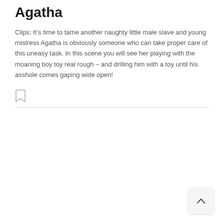Agatha
Clips: It’s time to tame another naughty little male slave and young mistress Agatha is obviously someone who can take proper care of this uneasy task. In this scene you will see her playing with the moaning boy toy real rough – and drilling him with a toy until his asshole comes gaping wide open!